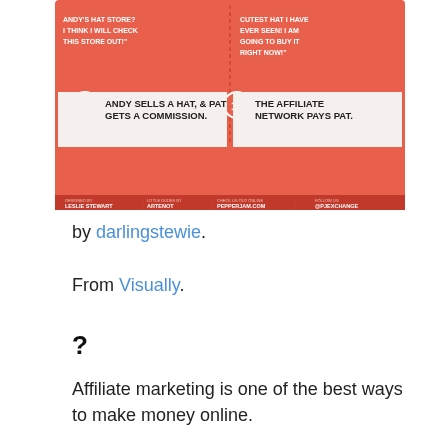[Figure (infographic): Infographic showing steps 9 and 10 of affiliate marketing: Step 9 - Andy sells a hat and Pat gets a commission (man with hat box and dollar sign saying 'Thanks to Pat I sold a hat! Now he will get a % of the sale!'); Step 10 - The affiliate network pays Pat (man with money envelope saying 'Wow! I got a % of a sale from Andy's hat store! This is super!'). Footer credits: Designed by Leslie Stewart, Little Dudes by Artenot, Check us out online Pepperjam.com, Follow us @PJExchange. Top section shows two characters: woman saying 'Andy's Hat Store? I think I will check this store out!' and woman with basket saying 'Cutest hat I have ever seen! I am going to buy it right now!']
by darlingstewie.
From Visually.
?
Affiliate marketing is one of the best ways to make money online.